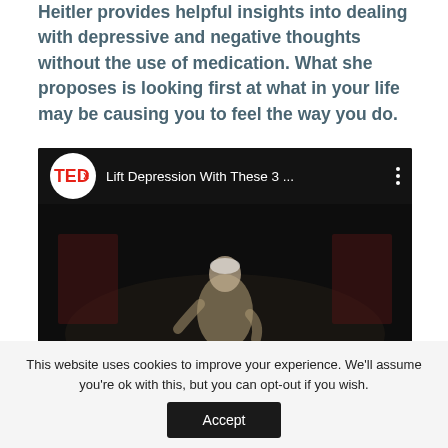Heitler provides helpful insights into dealing with depressive and negative thoughts without the use of medication. What she proposes is looking first at what in your life may be causing you to feel the way you do.
[Figure (screenshot): Embedded YouTube video thumbnail showing a TEDx talk titled 'Lift Depression With These 3 ...' with the TEDx logo and a speaker on a dark stage]
This website uses cookies to improve your experience. We'll assume you're ok with this, but you can opt-out if you wish.